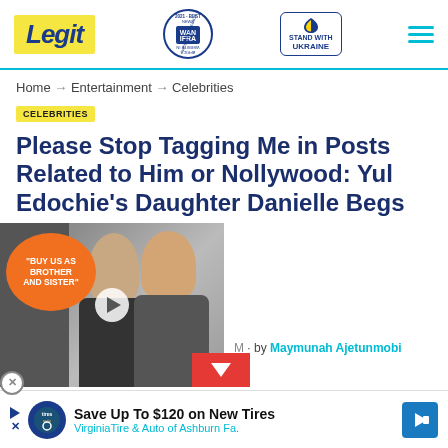Legit | WAN IFRA 2021 Best News Website in Africa | Stand With Ukraine
Home → Entertainment → Celebrities
CELEBRITIES
Please Stop Tagging Me in Posts Related to Him or Nollywood: Yul Edochie's Daughter Danielle Begs
[Figure (screenshot): Video thumbnail showing a man and woman with orange speech bubble reading 'BUY US AS BROTHER AND SISTER', with a play button overlay]
by Maymunah Ajetunmobi
[Figure (other): Advertisement banner: Save Up To $120 on New Tires - VirginiaTire & Auto of Ashburn Fa.]